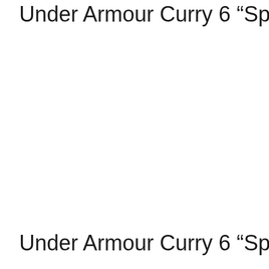Under Armour Curry 6 “Splash Party”
[Figure (photo): Photo of Under Armour Curry 6 'Splash Party' basketball shoe (image area appears blank/white in this rendering)]
Under Armour Curry 6 “Splash Party”